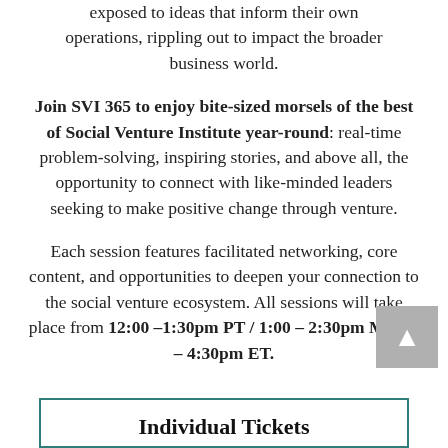exposed to ideas that inform their own operations, rippling out to impact the broader business world.
Join SVI 365 to enjoy bite-sized morsels of the best of Social Venture Institute year-round: real-time problem-solving, inspiring stories, and above all, the opportunity to connect with like-minded leaders seeking to make positive change through venture.
Each session features facilitated networking, core content, and opportunities to deepen your connection to the social venture ecosystem. All sessions will take place from 12:00 –1:30pm PT / 1:00 – 2:30pm MT / 3 – 4:30pm ET.
Individual Tickets